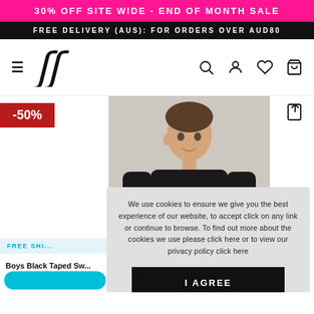30% OFF SITE WIDE - END OF MONTH SALE
FREE DELIVERY (AUS): FOR ORDERS OVER AUD80
[Figure (logo): SikSilk brand logo with stylized SS monogram in script]
-50%
[Figure (photo): Young male model wearing black SikSilk sweatshirt with logo text]
FREE SHI...
Boys Black Taped Sw...
We use cookies to ensure we give you the best experience of our website, to accept click on any link or continue to browse. To find out more about the cookies we use please click here or to view our privacy policy click here
I AGREE